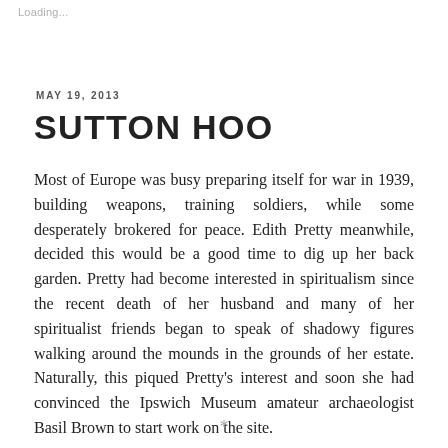Loading...
MAY 19, 2013
SUTTON HOO
Most of Europe was busy preparing itself for war in 1939, building weapons, training soldiers, while some desperately brokered for peace. Edith Pretty meanwhile, decided this would be a good time to dig up her back garden. Pretty had become interested in spiritualism since the recent death of her husband and many of her spiritualist friends began to speak of shadowy figures walking around the mounds in the grounds of her estate. Naturally, this piqued Pretty's interest and soon she had convinced the Ipswich Museum amateur archaeologist Basil Brown to start work on the site.